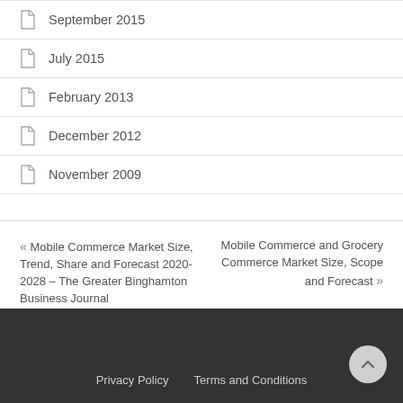September 2015
July 2015
February 2013
December 2012
November 2009
« Mobile Commerce Market Size, Trend, Share and Forecast 2020-2028 – The Greater Binghamton Business Journal
Mobile Commerce and Grocery Commerce Market Size, Scope and Forecast »
Privacy Policy   Terms and Conditions